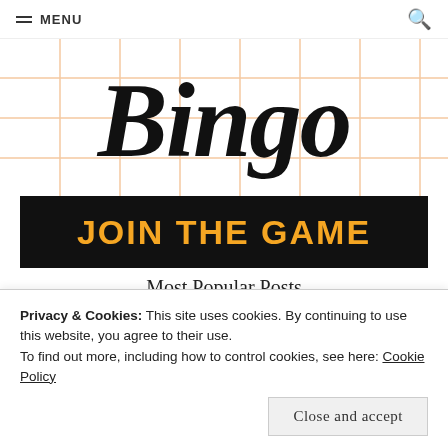MENU
[Figure (illustration): Hand-drawn 'Bingo' text in black script on a white grid background with orange/peach grid lines. Below it is a black banner with orange bold text reading 'JOIN THE GAME'.]
Most Popular Posts
Privacy & Cookies: This site uses cookies. By continuing to use this website, you agree to their use.
To find out more, including how to control cookies, see here: Cookie Policy
Close and accept